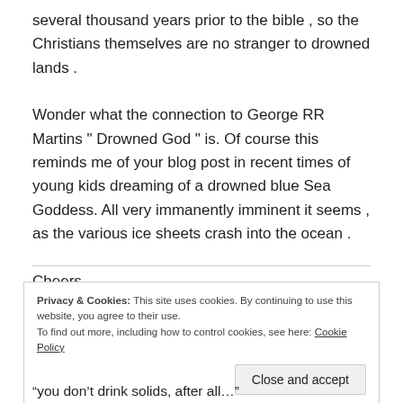several thousand years prior to the bible , so the Christians themselves are no stranger to drowned lands . Wonder what the connection to George RR Martins " Drowned God " is. Of course this reminds me of your blog post in recent times of young kids dreaming of a drowned blue Sea Goddess. All very immanently imminent it seems , as the various ice sheets crash into the ocean . Cheers
Privacy & Cookies: This site uses cookies. By continuing to use this website, you agree to their use. To find out more, including how to control cookies, see here: Cookie Policy
“you don’t drink solids, after all…”